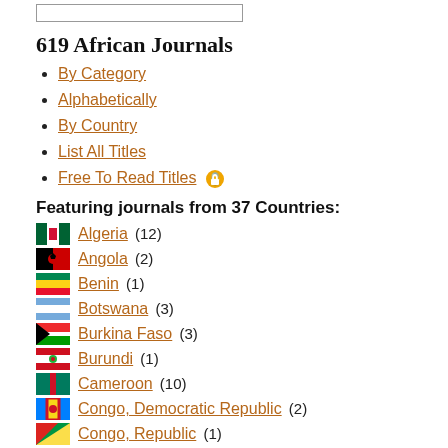[Figure (other): Search input box outline at top]
619 African Journals
By Category
Alphabetically
By Country
List All Titles
Free To Read Titles [open access icon]
Featuring journals from 37 Countries:
Algeria (12)
Angola (2)
Benin (1)
Botswana (3)
Burkina Faso (3)
Burundi (1)
Cameroon (10)
Congo, Democratic Republic (2)
Congo, Republic (1)
Côte d'Ivoire (4)
Egypt, Arab Rep. (19)
Eritrea (1)
Eswatini (3)